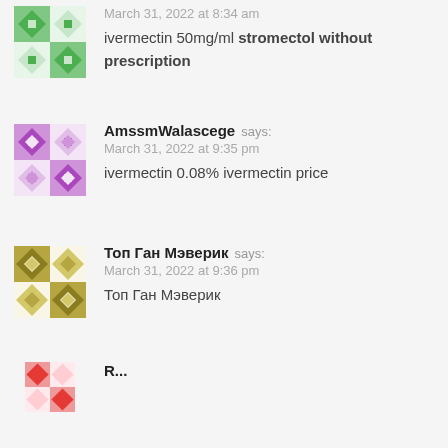March 31, 2022 at 8:34 am
ivermectin 50mg/ml stromectol without prescription
AmssmWalascege says:
March 31, 2022 at 9:35 pm
ivermectin 0.08% ivermectin price
Топ Ган Мэверик says:
March 31, 2022 at 9:36 pm
Топ Ган Мэверик